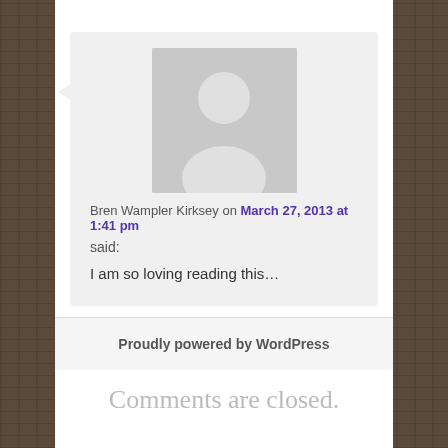[Figure (illustration): Gray avatar placeholder image showing a silhouette of a person (head and shoulders) on a gray background]
Bren Wampler Kirksey on March 27, 2013 at 1:41 pm
said:
I am so loving reading this…
Comments are closed.
Proudly powered by WordPress